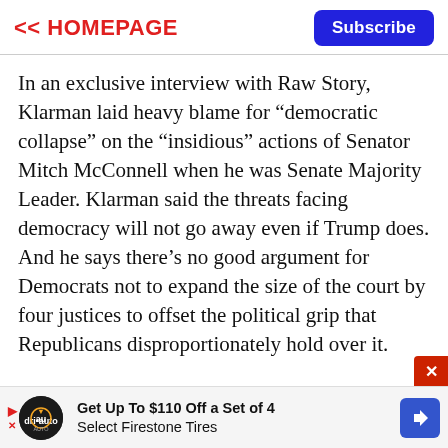<< HOMEPAGE  Subscribe
In an exclusive interview with Raw Story, Klarman laid heavy blame for “democratic collapse” on the “insidious” actions of Senator Mitch McConnell when he was Senate Majority Leader. Klarman said the threats facing democracy will not go away even if Trump does. And he says there’s no good argument for Democrats not to expand the size of the court by four justices to offset the political grip that Republicans disproportionately hold over it.
Klarman received his J.D. from Stanford and his D. Phil. from Oxford, where he was a Marshall Scholar. He clerked for the late Justice Ruth Bader
[Figure (other): Advertisement banner: Get Up To $110 Off a Set of 4 Select Firestone Tires with auto logo and blue arrow icon]